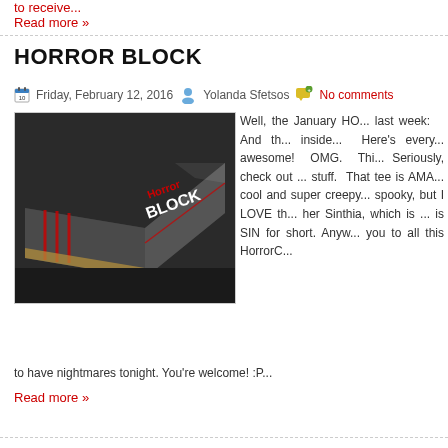to receive...
Read more »
HORROR BLOCK
Friday, February 12, 2016  Yolanda Sfetsos  No comments
[Figure (photo): A dark cardboard box with Horror Block branding in red and white lettering, photographed on a dark surface]
Well, the January HO... last week: And th... inside... Here's every... awesome! OMG. Thi... Seriously, check out ... stuff. That tee is AMA... cool and super creepy... spooky, but I LOVE th... her Sinthia, which is ... is SIN for short. Anyw... you to all this HorrorC...
to have nightmares tonight. You're welcome! :P...
Read more »